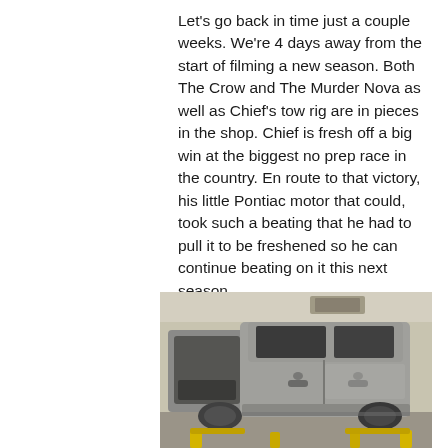Let's go back in time just a couple weeks. We're 4 days away from the start of filming a new season. Both The Crow and The Murder Nova as well as Chief's tow rig are in pieces in the shop. Chief is fresh off a big win at the biggest no prep race in the country. En route to that victory, his little Pontiac motor that could, took such a beating that he had to pull it to be freshened so he can continue beating on it this next season.
[Figure (photo): A silver/grey truck (appears to be a Chevrolet Silverado) lifted on a vehicle hoist in a shop, with the hood area open and the front bumper/grille removed. The undercarriage and suspension components are visible. Yellow lift arms are visible at the bottom.]